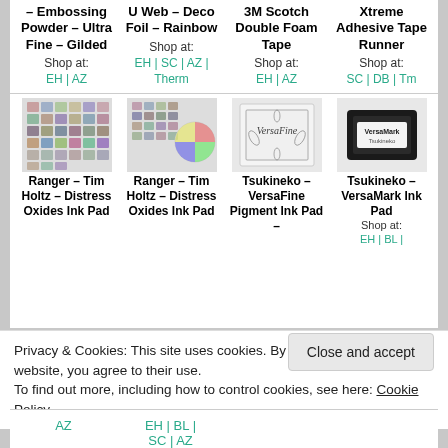– Embossing Powder – Ultra Fine – Gilded
Shop at: EH | AZ
U Web – Deco Foil – Rainbow
Shop at: EH | SC | AZ | Therm
3M Scotch Double Foam Tape
Shop at: EH | AZ
Xtreme Adhesive Tape Runner
Shop at: SC | DB | Tm
[Figure (photo): Ranger Tim Holtz Distress Oxides Ink Pad product image - grid of colored ink pads]
Ranger – Tim Holtz – Distress Oxides Ink Pad
[Figure (photo): Ranger Tim Holtz Distress Oxides Ink Pad product image - grid of colored ink pads with color wheel]
Ranger – Tim Holtz – Distress Oxides Ink Pad
[Figure (photo): Tsukineko VersaFine Pigment Ink Pad product image]
Tsukineko – VersaFine Pigment Ink Pad –
[Figure (photo): Tsukineko VersaMark Ink Pad product image - black ink pad]
Tsukineko – VersaMark Ink Pad
Shop at: EH | BL |
Privacy & Cookies: This site uses cookies. By continuing to use this website, you agree to their use.
To find out more, including how to control cookies, see here: Cookie Policy
Close and accept
AZ
EH | BL | SC | AZ